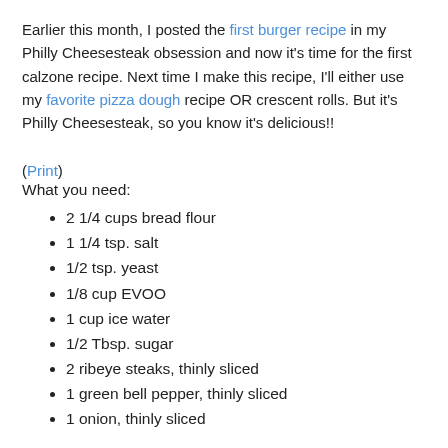Earlier this month, I posted the first burger recipe in my Philly Cheesesteak obsession and now it's time for the first calzone recipe. Next time I make this recipe, I'll either use my favorite pizza dough recipe OR crescent rolls. But it's Philly Cheesesteak, so you know it's delicious!!
(Print)
What you need:
2 1/4 cups bread flour
1 1/4 tsp. salt
1/2 tsp. yeast
1/8 cup EVOO
1 cup ice water
1/2 Tbsp. sugar
2 ribeye steaks, thinly sliced
1 green bell pepper, thinly sliced
1 onion, thinly sliced